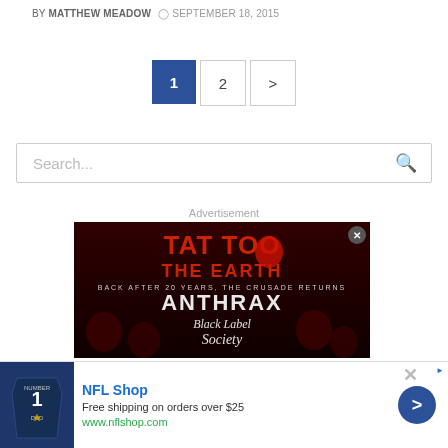BY MATTHEW MEADOW  ⏱ SEPTEMBER 18, 2015
Pagination: 1  2  >
Search...
Advertisement
[Figure (photo): Advertisement banner for Tattoo The Earth festival featuring Anthrax and Black Label Society with dark red background and skulls]
[Figure (photo): Bottom ad banner for NFL Shop: Free shipping on orders over $25, www.nflshop.com, with a Dallas Cowboys jersey and navigation arrow]